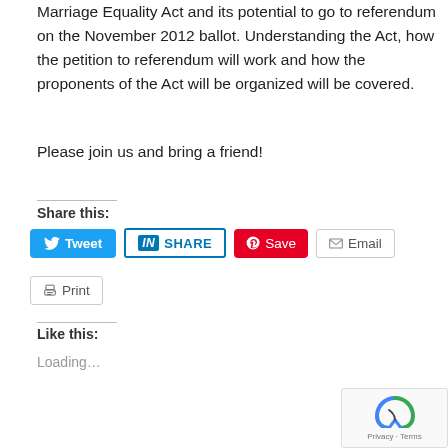Marriage Equality Act and its potential to go to referendum on the November 2012 ballot. Understanding the Act, how the petition to referendum will work and how the proponents of the Act will be organized will be covered.
Please join us and bring a friend!
Share this:
[Figure (screenshot): Social share buttons: Tweet (Twitter/blue), SHARE (LinkedIn/blue outline), Save (Pinterest/red), Email (grey outline), Print (grey outline)]
Like this:
Loading...
[Figure (logo): reCAPTCHA badge with Privacy and Terms links]